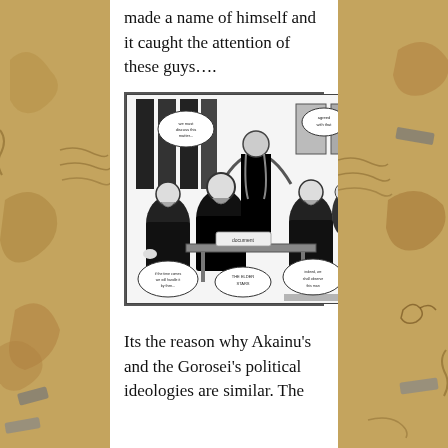made a name of himself and it caught the attention of these guys….
[Figure (illustration): Black and white manga panel showing several figures in dark robes seated and standing around a table, resembling the Gorosei from One Piece, with speech bubbles.]
Its the reason why Akainu's and the Gorosei's political ideologies are similar. The